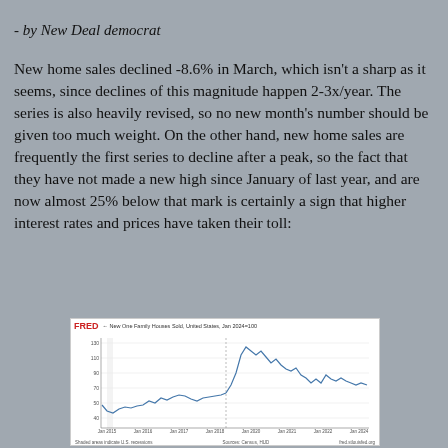- by New Deal democrat
New home sales declined -8.6% in March, which isn't a sharp as it seems, since declines of this magnitude happen 2-3x/year. The series is also heavily revised, so no new month's number should be given too much weight. On the other hand, new home sales are frequently the first series to decline after a peak, so the fact that they have not made a new high since January of last year, and are now almost 25% below that mark is certainly a sign that higher interest rates and prices have taken their toll:
[Figure (continuous-plot): FRED chart showing New One Family Houses Sold, United States, Jan 2024=100 line chart. The chart shows a time series with two panels: an older period (left) showing lower, relatively flat values with some fluctuation, and a more recent period (right) showing a significant rise and then partial decline from a peak. Y-axis appears to range from about 40 to 130. X-axis shows years from approximately 2010 to 2024.]